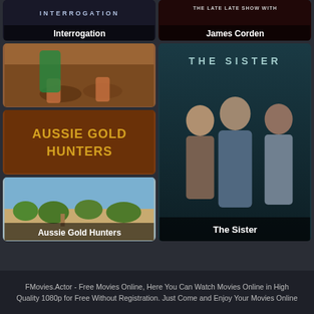[Figure (screenshot): TV show card: Interrogation (dark background with white text overlay)]
[Figure (screenshot): TV show card: James Corden Late Late Show (dark background with white text overlay)]
[Figure (screenshot): TV show card top-left: close-up of hands on reddish dirt ground]
[Figure (screenshot): TV show card middle-left: Aussie Gold Hunters title card with golden text on brown background]
[Figure (screenshot): TV show card bottom-left: Aussie Gold Hunters landscape with scrubland]
[Figure (screenshot): TV show card right: The Sister - three people standing, teal/dark tone poster]
FMovies.Actor - Free Movies Online, Here You Can Watch Movies Online in High Quality 1080p for Free Without Registration. Just Come and Enjoy Your Movies Online